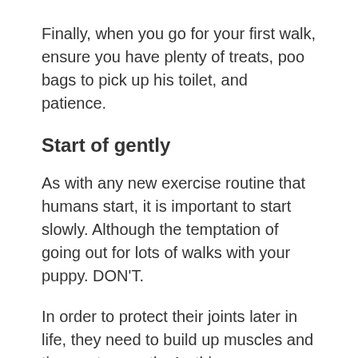Finally, when you go for your first walk, ensure you have plenty of treats, poo bags to pick up his toilet, and patience.
Start of gently
As with any new exercise routine that humans start, it is important to start slowly. Although the temptation of going out for lots of walks with your puppy. DON'T.
In order to protect their joints later in life, they need to build up muscles and tissue etc., gently. As this can vary from breed to breed, I would.
I would always recommend checking with your